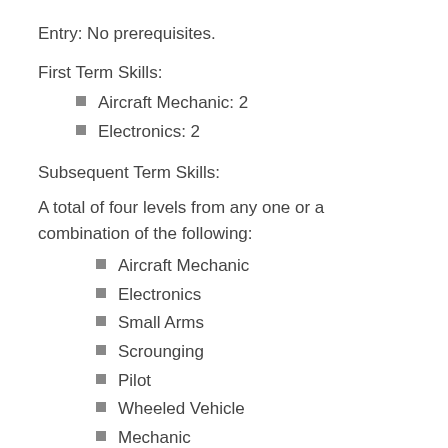Entry: No prerequisites.
First Term Skills:
Aircraft Mechanic: 2
Electronics: 2
Subsequent Term Skills:
A total of four levels from any one or a combination of the following:
Aircraft Mechanic
Electronics
Small Arms
Scrounging
Pilot
Wheeled Vehicle
Mechanic
Machinist